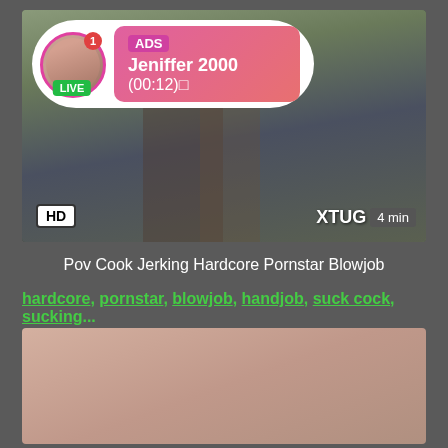[Figure (screenshot): Video thumbnail showing person in graphic t-shirt and colorful shorts, with HD badge, XTUG watermark, and 4 min duration label. Overlaid notification bubble with avatar, LIVE badge, ADS label, name Jeniffer 2000 and timer (00:12).]
Pov Cook Jerking Hardcore Pornstar Blowjob
hardcore, pornstar, blowjob, handjob, suck cock, sucking...
[Figure (photo): Second video thumbnail showing person from torso down against light background.]